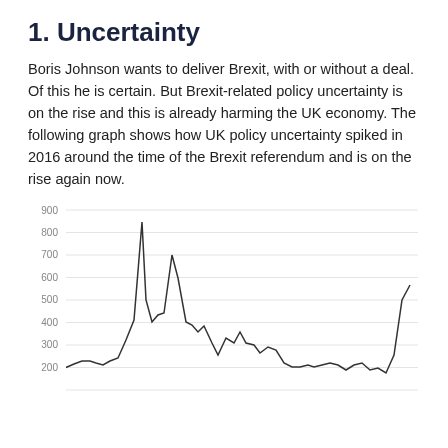1. Uncertainty
Boris Johnson wants to deliver Brexit, with or without a deal. Of this he is certain. But Brexit-related policy uncertainty is on the rise and this is already harming the UK economy. The following graph shows how UK policy uncertainty spiked in 2016 around the time of the Brexit referendum and is on the rise again now.
[Figure (continuous-plot): Line chart showing UK policy uncertainty index over time, with a major spike around 2016 (reaching ~870) corresponding to the Brexit referendum, elevated values in subsequent years, and a rising trend at the right edge of the chart. Y-axis ranges from approximately 100 to 900, with gridlines at 200, 300, 400, 500, 600, 700, 800, 900.]